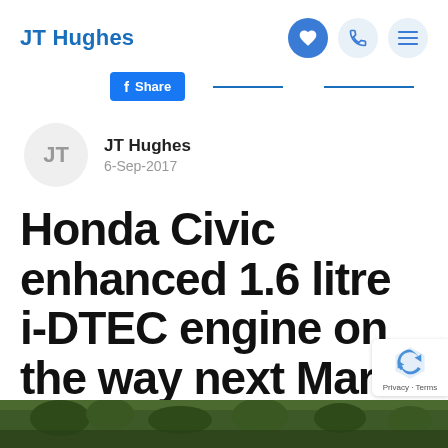JT Hughes
[Figure (screenshot): Navigation bar with JT Hughes branding and three icon buttons: heart (filled blue), phone, and menu.]
[Figure (screenshot): Facebook Share button and two blue horizontal lines (social share bar).]
JT Hughes
6-Sep-2017
Honda Civic enhanced 1.6 litre i-DTEC engine on the way next March
[Figure (photo): Bottom strip showing outdoor scene with trees.]